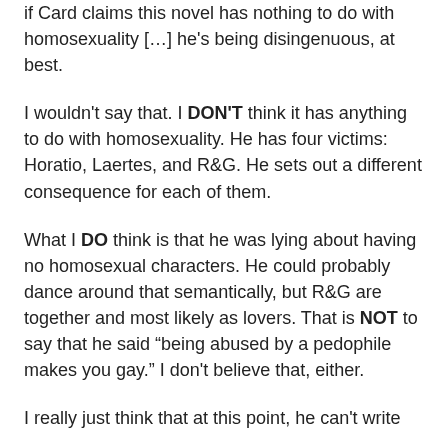if Card claims this novel has nothing to do with homosexuality […] he's being disingenuous, at best.
I wouldn't say that. I DON'T think it has anything to do with homosexuality. He has four victims: Horatio, Laertes, and R&G. He sets out a different consequence for each of them.
What I DO think is that he was lying about having no homosexual characters. He could probably dance around that semantically, but R&G are together and most likely as lovers. That is NOT to say that he said "being abused by a pedophile makes you gay." I don't believe that, either.
I really just think that at this point, he can't write